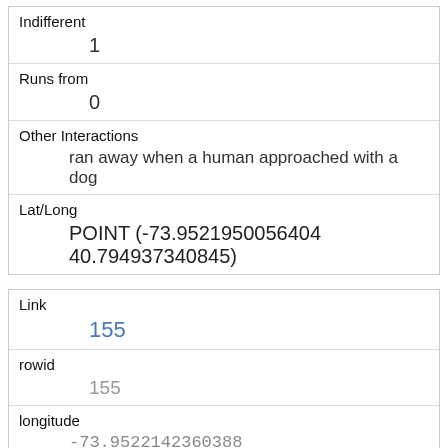| Indifferent | 1 |
| Runs from | 0 |
| Other Interactions | ran away when a human approached with a dog |
| Lat/Long | POINT (-73.9521950056404 40.794937340845) |
| Link | 155 |
| rowid | 155 |
| longitude | -73.9522142360388 |
| latitude | 40.79495984866683 |
| Unique Squirrel ID | 39H-PM-1013-02 |
| Hectare | 39H |